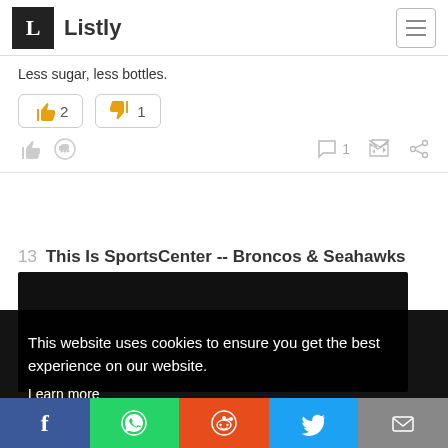Listly
Less sugar, less bottles.
👍 2  👎 1
13  This Is SportsCenter -- Broncos & Seahawks Long Week
This website uses cookies to ensure you get the best experience on our website.
Learn more
Got it!